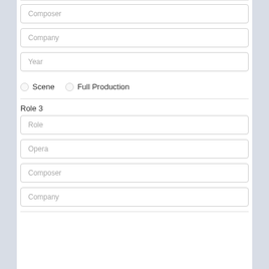Composer (input field)
Company (input field)
Year (input field)
Scene  Full Production (radio buttons)
Role 3
Role (input field)
Opera (input field)
Composer (input field)
Company (input field)